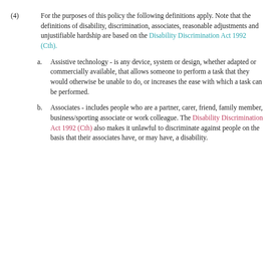(4) For the purposes of this policy the following definitions apply. Note that the definitions of disability, discrimination, associates, reasonable adjustments and unjustifiable hardship are based on the Disability Discrimination Act 1992 (Cth).
a. Assistive technology - is any device, system or design, whether adapted or commercially available, that allows someone to perform a task that they would otherwise be unable to do, or increases the ease with which a task can be performed.
b. Associates - includes people who are a partner, carer, friend, family member, business/sporting associate or work colleague. The Disability Discrimination Act 1992 (Cth) also makes it unlawful to discriminate against people on the basis that their associates have, or may have, a disability.